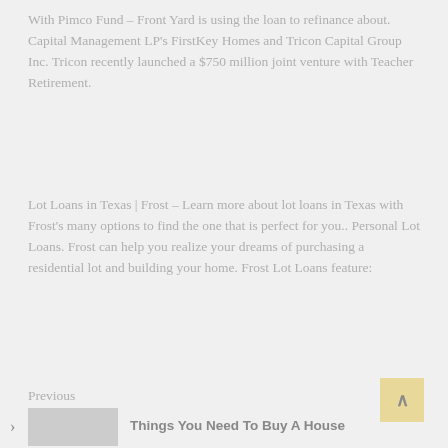With Pimco Fund – Front Yard is using the loan to refinance about. Capital Management LP's FirstKey Homes and Tricon Capital Group Inc. Tricon recently launched a $750 million joint venture with Teacher Retirement.
Lot Loans in Texas | Frost – Learn more about lot loans in Texas with Frost's many options to find the one that is perfect for you.. Personal Lot Loans. Frost can help you realize your dreams of purchasing a residential lot and building your home. Frost Lot Loans feature:
Previous
Things You Need To Buy A House